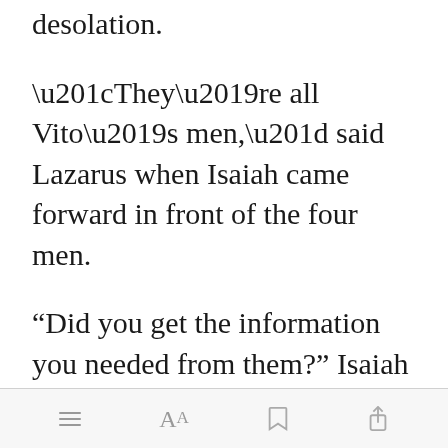desolation.
“They’re all Vito’s men,” said Lazarus when Isaiah came forward in front of the four men.
“Did you get the information you needed from them?” Isaiah asked his beta. Lazarus simply nodded his reply. “Who shot the gun?” he asked next.
Open in app | menu | font | bookmark | share